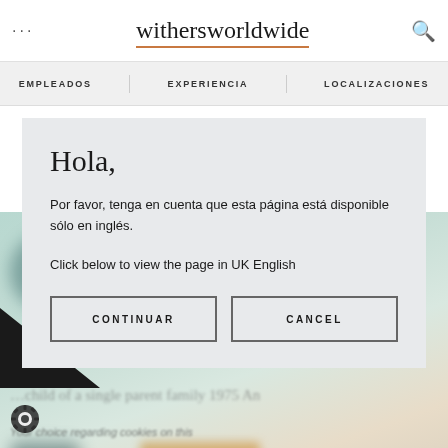withersworldwide
EMPLEADOS   EXPERIENCIA   LOCALIZACIONES
[Figure (screenshot): Blurred background photo of people, partially obscured by modal dialog]
Hola,
Por favor, tenga en cuenta que esta página está disponible sólo en inglés.
Click below to view the page in UK English
CONTINUAR
CANCEL